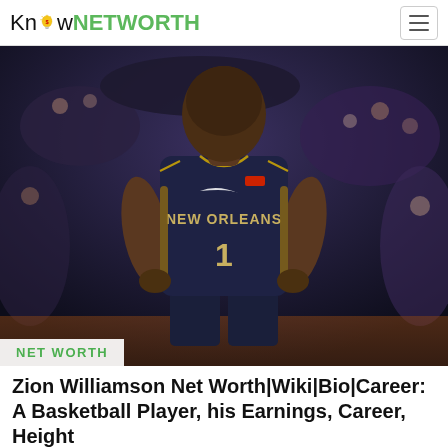KnowNETWORTH
[Figure (photo): Zion Williamson in New Orleans Pelicans navy jersey number 1, standing on basketball court with hands on hips]
NET WORTH
Zion Williamson Net Worth|Wiki|Bio|Career: A Basketball Player, his Earnings, Career, Height